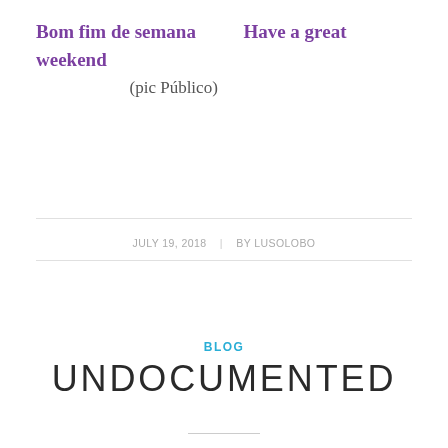Bom fim de semana      Have a great weekend           (pic Público)
JULY 19, 2018  |  BY LUSOLOBO
BLOG
UNDOCUMENTED